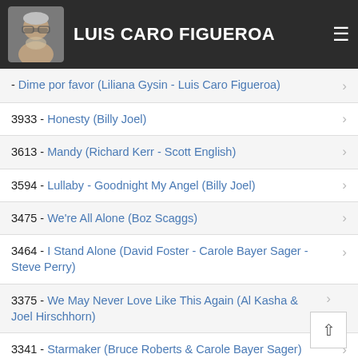LUIS CARO FIGUEROA
- Dime por favor (Liliana Gysin - Luis Caro Figueroa)
3933 - Honesty (Billy Joel)
3613 - Mandy (Richard Kerr - Scott English)
3594 - Lullaby - Goodnight My Angel (Billy Joel)
3475 - We're All Alone (Boz Scaggs)
3464 - I Stand Alone (David Foster - Carole Bayer Sager - Steve Perry)
3375 - We May Never Love Like This Again (Al Kasha & Joel Hirschhorn)
3341 - Starmaker (Bruce Roberts & Carole Bayer Sager)